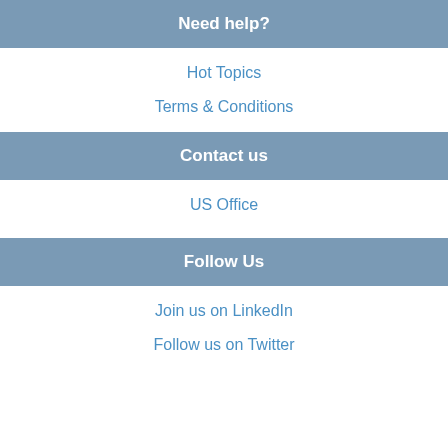Need help?
Hot Topics
Terms & Conditions
Contact us
US Office
Follow Us
Join us on LinkedIn
Follow us on Twitter